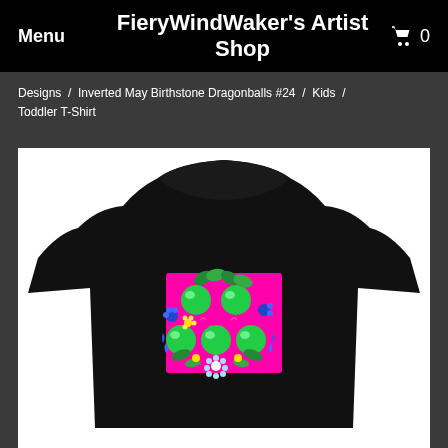Menu   FieryWindWaker's Artist Shop   🛒 0
Designs / Inverted May Birthstone Dragonballs #24 / Kids / Toddler T-Shirt
[Figure (photo): Black toddler T-shirt with a colorful design on the chest featuring green dragonballs surrounded by flowers and leaves on a bright pink/magenta background.]